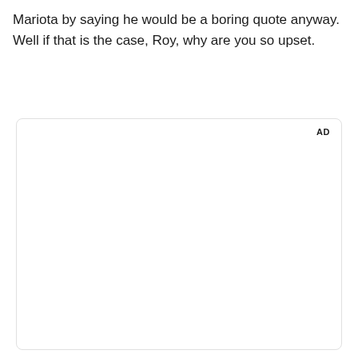Mariota by saying he would be a boring quote anyway. Well if that is the case, Roy, why are you so upset.
[Figure (other): Advertisement placeholder box with 'AD' label in top right corner]